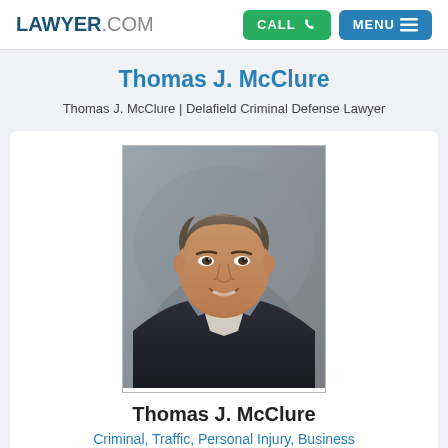LAWYER.COM — CALL | MENU
Thomas J. McClure
Thomas J. McClure | Delafield Criminal Defense Lawyer
[Figure (photo): Professional headshot of Thomas J. McClure, a middle-aged man with short brown/gray hair wearing a dark suit jacket and light-colored shirt, smiling, against a neutral gray-blue background.]
Thomas J. McClure
Criminal, Traffic, Personal Injury, Business
http://www.mcclurelawoffices.com